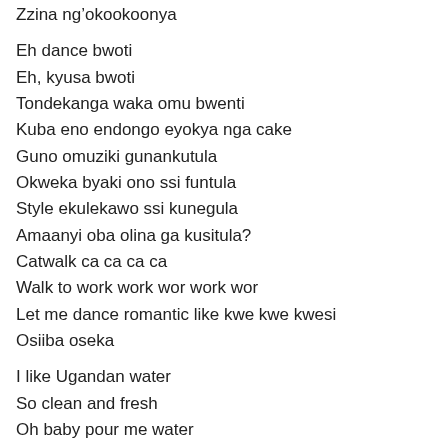Zzina ng’okookoonya
Eh dance bwoti
Eh, kyusa bwoti
Tondekanga waka omu bwenti
Kuba eno endongo eyokya nga cake
Guno omuziki gunankutula
Okweka byaki ono ssi funtula
Style ekulekawo ssi kunegula
Amaanyi oba olina ga kusitula?
Catwalk ca ca ca ca
Walk to work work wor work wor
Let me dance romantic like kwe kwe kwesi
Osiiba oseka
I like Ugandan water
So clean and fresh
Oh baby pour me water